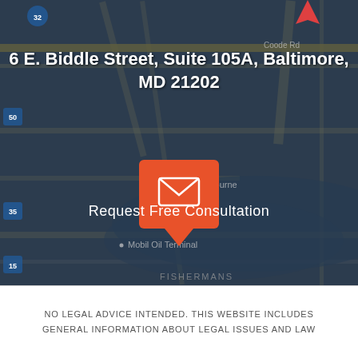[Figure (map): Google Maps view of Baltimore area showing location at 6 E. Biddle Street, Suite 105A with a map pin and email contact icon overlay]
6 E. Biddle Street, Suite 105A, Baltimore, MD 21202
Request Free Consultation
NO LEGAL ADVICE INTENDED. THIS WEBSITE INCLUDES GENERAL INFORMATION ABOUT LEGAL ISSUES AND LAW